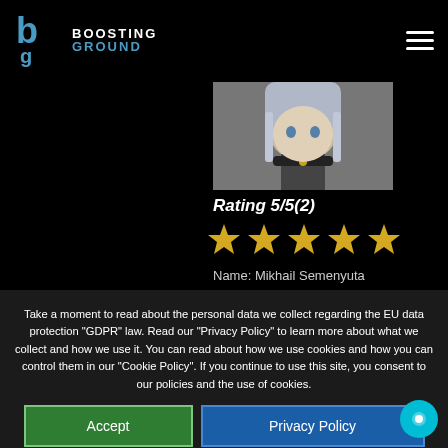BOOSTING GROUND
[Figure (photo): Anime-style character illustration cropped at top]
Rating 5/5(2)
[Figure (other): 5 gold star rating icons]
Name: Mikhail Semenyuta
Take a moment to read about the personal data we collect regarding the EU data protection "GDPR" law. Read our "Privacy Policy" to learn more about what we collect and how we use it. You can read about how we use cookies and how you can control them in our "Cookie Policy". If you continue to use this site, you consent to our policies and the use of cookies.